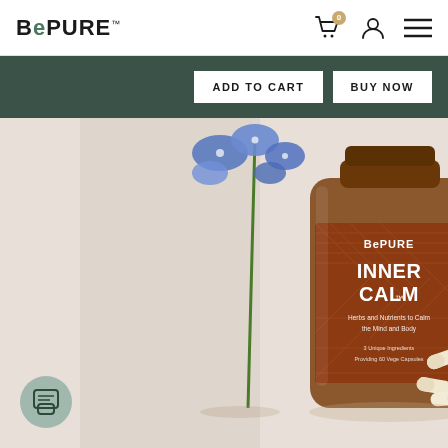BePURE™
ADD TO CART  BUY NOW
[Figure (photo): BePURE Inner Calm supplement bottle (amber glass jar with geometric pattern label reading INNER CALM, Herbs and Nutrients to Calm the Mind and Body) next to blue orchid flowers and white capsules on a light surface]